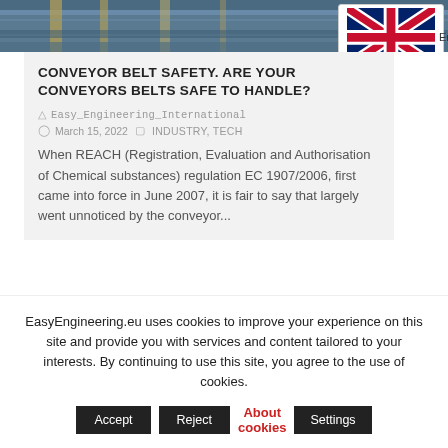[Figure (photo): Top industrial conveyor belt image with blue/yellow machinery overhead]
CONVEYOR BELT SAFETY. ARE YOUR CONVEYORS BELTS SAFE TO HANDLE?
Easy_Engineering_International
March 15, 2022  INDUSTRY, TECH
When REACH (Registration, Evaluation and Authorisation of Chemical substances) regulation EC 1907/2006, first came into force in June 2007, it is fair to say that largely went unnoticed by the conveyor...
[Figure (photo): Second industrial machinery/conveyor image, partially visible]
EasyEngineering.eu uses cookies to improve your experience on this site and provide you with services and content tailored to your interests. By continuing to use this site, you agree to the use of cookies. Accept  Reject  About cookies  Settings